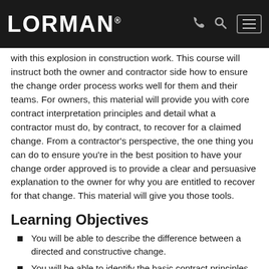LORMAN
with this explosion in construction work. This course will instruct both the owner and contractor side how to ensure the change order process works well for them and their teams. For owners, this material will provide you with core contract interpretation principles and detail what a contractor must do, by contract, to recover for a claimed change. From a contractor's perspective, the one thing you can do to ensure you're in the best position to have your change order approved is to provide a clear and persuasive explanation to the owner for why you are entitled to recover for that change. This material will give you those tools.
Learning Objectives
You will be able to describe the difference between a directed and constructive change.
You will be able to identify the basic contract principles and rules of contract interpretation.